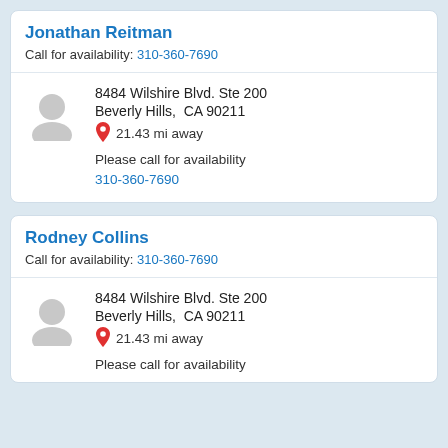Jonathan Reitman
Call for availability: 310-360-7690
[Figure (illustration): Gray default user avatar silhouette]
8484 Wilshire Blvd. Ste 200
Beverly Hills,  CA 90211
21.43 mi away
Please call for availability
310-360-7690
Rodney Collins
Call for availability: 310-360-7690
[Figure (illustration): Gray default user avatar silhouette]
8484 Wilshire Blvd. Ste 200
Beverly Hills,  CA 90211
21.43 mi away
Please call for availability